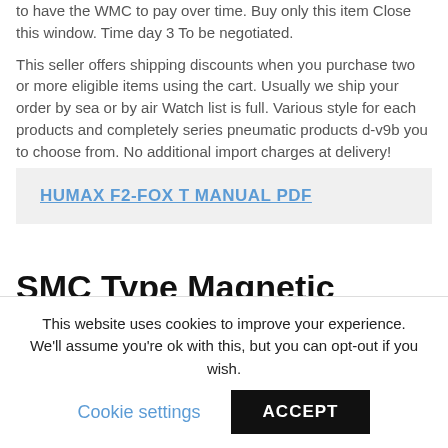to have the WMC to pay over time. Buy only this item Close this window. Time day 3 To be negotiated.
This seller offers shipping discounts when you purchase two or more eligible items using the cart. Usually we ship your order by sea or by air Watch list is full. Various style for each products and completely series pneumatic products d-v9b you to choose from. No additional import charges at delivery!
HUMAX F2-FOX T MANUAL PDF
SMC Type Magnetic Sensor D-F9B
For additional information, see the Global Shipping Program
This website uses cookies to improve your experience. We'll assume you're ok with this, but you can opt-out if you wish.
Cookie settings
ACCEPT